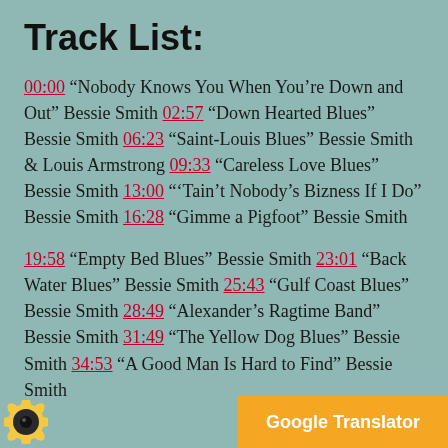Track List:
00:00 “Nobody Knows You When You’re Down and Out” Bessie Smith 02:57 “Down Hearted Blues” Bessie Smith 06:23 “Saint-Louis Blues” Bessie Smith & Louis Armstrong 09:33 “Careless Love Blues” Bessie Smith 13:00 “’Tain’t Nobody’s Bizness If I Do” Bessie Smith 16:28 “Gimme a Pigfoot” Bessie Smith
19:58 “Empty Bed Blues” Bessie Smith 23:01 “Back Water Blues” Bessie Smith 25:43 “Gulf Coast Blues” Bessie Smith 28:49 “Alexander’s Ragtime Band” Bessie Smith 31:49 “The Yellow Dog Blues” Bessie Smith 34:53 “A Good Man Is Hard to Find” Bessie Smith
[Figure (logo): Sunflower logo icon — yellow circle with black dot/eye in center]
Google Translator